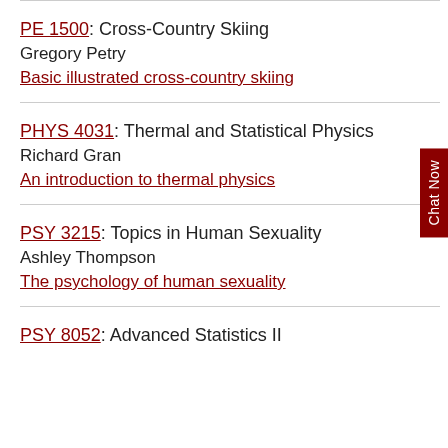PE 1500: Cross-Country Skiing
Gregory Petry
Basic illustrated cross-country skiing
PHYS 4031: Thermal and Statistical Physics
Richard Gran
An introduction to thermal physics
PSY 3215: Topics in Human Sexuality
Ashley Thompson
The psychology of human sexuality
PSY 8052: Advanced Statistics II